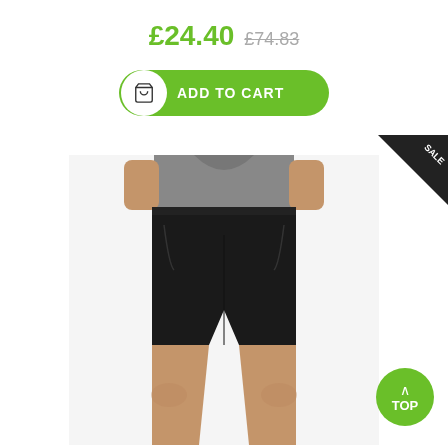£24.40 £74.83
ADD TO CART
[Figure (photo): Man wearing black shorts and a grey t-shirt, shown from waist down, product photo on white background]
SALE
TOP